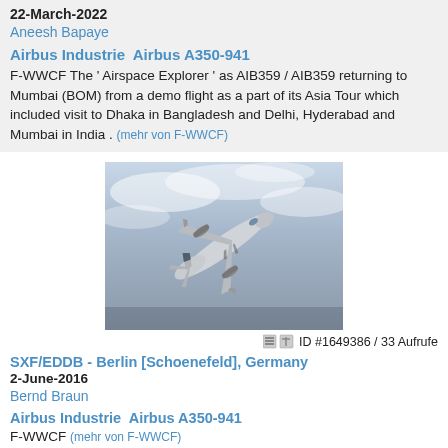22-March-2022
Aneesh Bapaye
Airbus Industrie  Airbus A350-941
F-WWCF The ' Airspace Explorer ' as AIB359 / AIB359 returning to Mumbai (BOM) from a demo flight as a part of its Asia Tour which included visit to Dhaka in Bangladesh and Delhi, Hyderabad and Mumbai in India . (mehr von F-WWCF)
[Figure (photo): Airbus A350-941 aircraft banking steeply in flight against a cloudy grey sky]
ID #1649386 / 33 Aufrufe
SXF/EDDB - Berlin [Schoenefeld], Germany
2-June-2016
Bernd Braun
Airbus Industrie  Airbus A350-941
F-WWCF (mehr von F-WWCF)